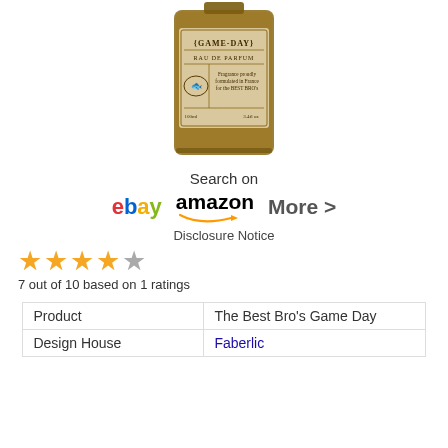[Figure (photo): A bottle of The Best Bro's Game Day Eau de Parfum by Faberlic, showing label text: {GAME-DAY}, RAU DE PARFUM, Fragrance proudly formulated in France for the BEST BRO's, 100ml, 3.4fl oz]
Search on
ebay   amazon   More >
Disclosure Notice
★★★★☆  7 out of 10 based on 1 ratings
| Product | The Best Bro's Game Day |
| Design House | Faberlic |